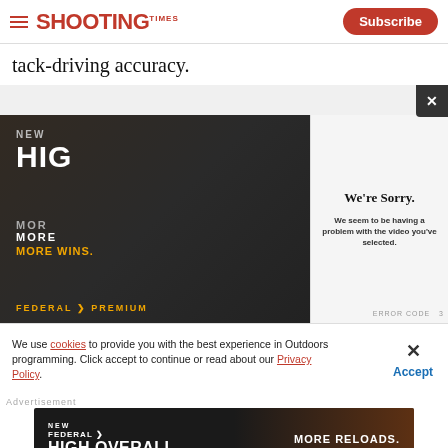Shooting Times - Subscribe
tack-driving accuracy.
[Figure (screenshot): Video player overlay showing a dark advertisement for Federal Premium ammunition with text NEW, HIGH OVERALL, MORE RELOADS, MORE WINS overlaid with a video error popup: We're Sorry. We seem to be having a problem with the video you've selected. Error code shown. Close X button in top right.]
We use cookies to provide you with the best experience in Outdoors programming. Click accept to continue or read about our Privacy Policy.
Advertisement
[Figure (screenshot): Bottom banner advertisement for Federal Premium: NEW FEDERAL HIGH OVERALL MORE RELOADS. with ammunition imagery background.]